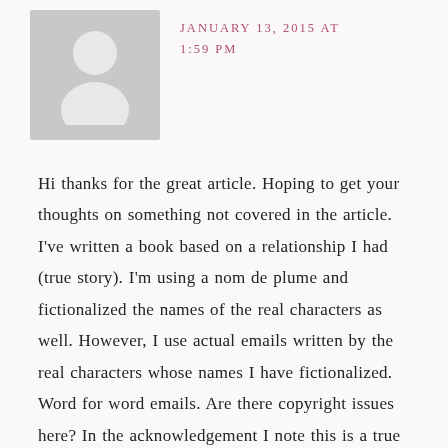[Figure (illustration): Generic grey avatar placeholder image showing a silhouette of a person (head and shoulders), light grey background]
JANUARY 13, 2015 AT 1:59 PM
Hi thanks for the great article. Hoping to get your thoughts on something not covered in the article. I've written a book based on a relationship I had (true story). I'm using a nom de plume and fictionalized the names of the real characters as well. However, I use actual emails written by the real characters whose names I have fictionalized. Word for word emails. Are there copyright issues here? In the acknowledgement I note this is a true story but I changed the names